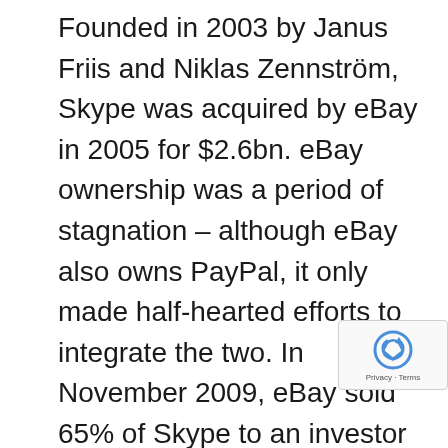Founded in 2003 by Janus Friis and Niklas Zennström, Skype was acquired by eBay in 2005 for $2.6bn. eBay ownership was a period of stagnation – although eBay also owns PayPal, it only made half-hearted efforts to integrate the two. In November 2009, eBay sold 65% of Skype to an investor group led by Silver Lake for approximately $1.9bn in cash, valuing Skype at $2.75bn.
With Skype preparing for an IPO, Microsoft announced in May 2011 that it had agreed to buy the company for $8.5bn, giving the investor group a massive return and ensuring future potenti disruptive start-ups will also attract plenty of funding. Many commentators have suggested